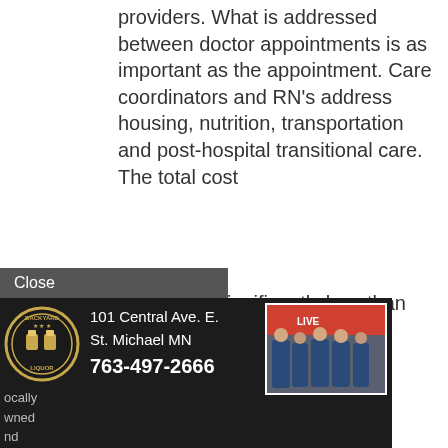providers. What is addressed between doctor appointments is as important as the appointment. Care coordinators and RN's address housing, nutrition, transportation and post-hospital transitional care. The total cost [of] Health is significantly less than [average in] Minnesota. Our investment in [support] services to support our patients [makes a] difference.
[Figure (other): Advertisement for Backyard Liquor showing logo, address (101 Central Ave. E., St. Michael MN, 763-497-2666), a group photo of staff in blue jackets, hours (Mon.-Sat. 10am-10pm, Sunday 11am-6pm), website (backyardliquor.com), and 'Follow us on Facebook']
to navigate and look forward [to a post-pand]emic future, the need for [good care has] never been greater. Compiled [by our editor]s, the 100 Most Influential [Healthcare Le]aders are submitted [by Minnesota] Physician readers and colleagues [as a cross-se]ction of Minnesota's health care delivery system who exemplify outstanding